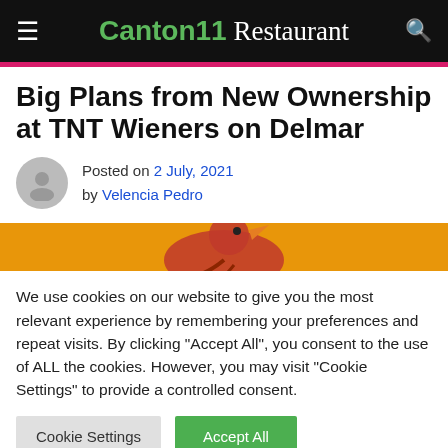Canton11 Restaurant
Big Plans from New Ownership at TNT Wieners on Delmar
Posted on 2 July, 2021 by Velencia Pedro
[Figure (illustration): Article header image with orange background showing a cartoon chicken/rooster graphic in red and dark colors]
We use cookies on our website to give you the most relevant experience by remembering your preferences and repeat visits. By clicking "Accept All", you consent to the use of ALL the cookies. However, you may visit "Cookie Settings" to provide a controlled consent.